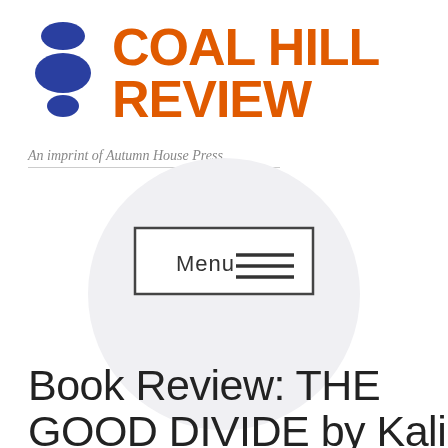[Figure (logo): Coal Hill Review logo: three blue stacked oval stones on the left, bold orange text reading COAL HILL REVIEW on the right]
An imprint of Autumn House Press.
[Figure (other): Menu button with hamburger icon inside a rectangle, set on a light circular background]
Book Review: THE GOOD DIVIDE by Kali